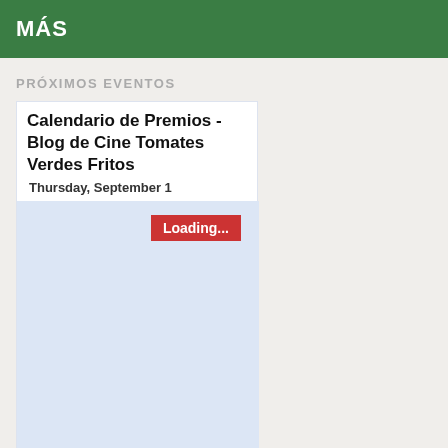MÁS
PRÓXIMOS EVENTOS
Calendario de Premios - Blog de Cine Tomates Verdes Fritos
Thursday, September 1
[Figure (screenshot): A loading calendar widget area with a red 'Loading...' button, light blue background.]